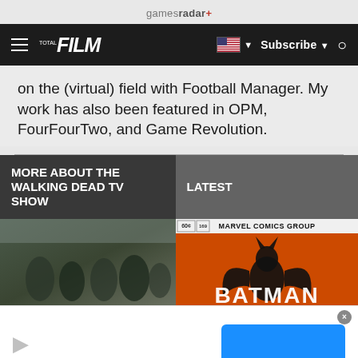gamesradar+
[Figure (screenshot): GamesRadar+ website navigation bar with Total Film logo, hamburger menu, US flag, Subscribe button, and search icon]
on the (virtual) field with Football Manager. My work has also been featured in OPM, FourFourTwo, and Game Revolution.
MORE ABOUT THE WALKING DEAD TV SHOW
LATEST
[Figure (photo): The Walking Dead TV show cast photo showing multiple characters in a moody outdoor setting]
[Figure (photo): Marvel Comics Group Batman comic book cover with orange background and Batman silhouette]